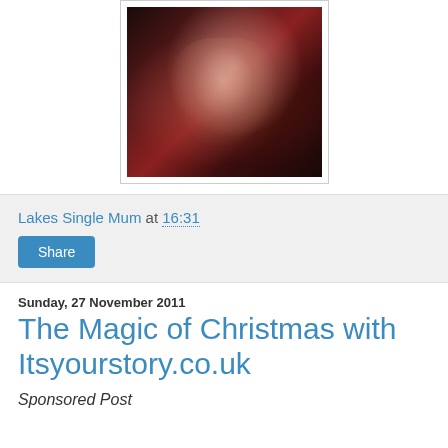[Figure (photo): Dark photo with pink/red lighting showing a person, appears blurry and dark with warm reddish tones]
Lakes Single Mum at 16:31
Share
Sunday, 27 November 2011
The Magic of Christmas with Itsyourstory.co.uk
Sponsored Post